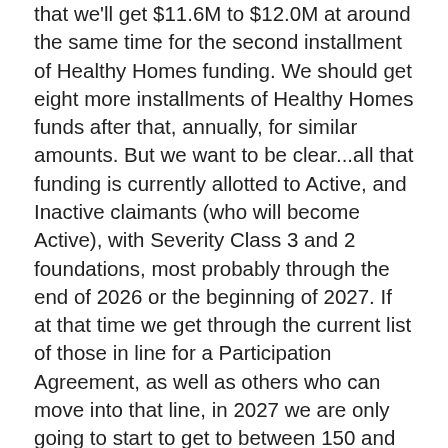that we'll get $11.6M to $12.0M at around the same time for the second installment of Healthy Homes funding. We should get eight more installments of Healthy Homes funds after that, annually, for similar amounts. But we want to be clear...all that funding is currently allotted to Active, and Inactive claimants (who will become Active), with Severity Class 3 and 2 foundations, most probably through the end of 2026 or the beginning of 2027. If at that time we get through the current list of those in line for a Participation Agreement, as well as others who can move into that line, in 2027 we are only going to start to get to between 150 and 200 Pending claimants who were already been in line before December 7, 2020.